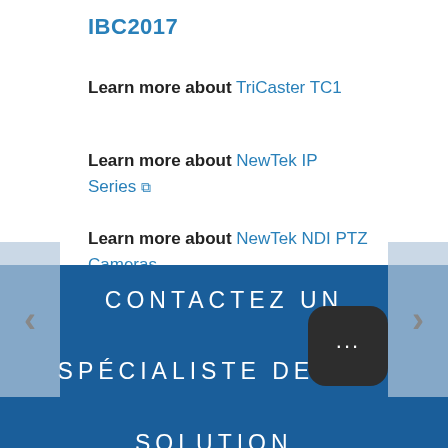IBC2017
Learn more about TriCaster TC1
Learn more about NewTek IP Series
Learn more about NewTek NDI PTZ Cameras
CONTACTEZ UN SPÉCIALISTE DE NOS SOLUTIONS